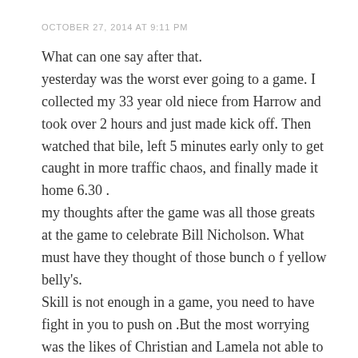OCTOBER 27, 2014 AT 9:11 PM
What can one say after that.
yesterday was the worst ever going to a game. I collected my 33 year old niece from Harrow and took over 2 hours and just made kick off. Then watched that bile, left 5 minutes early only to get caught in more traffic chaos, and finally made it home 6.30 .
my thoughts after the game was all those greats at the game to celebrate Bill Nicholson. What must have they thought of those bunch o f yellow belly's.
Skill is not enough in a game, you need to have fight in you to push on .But the most worrying was the likes of Christian and Lamela not able to put a pass together in the 2nd half, it was as if